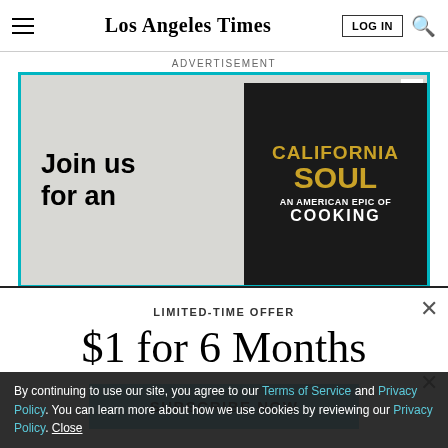Los Angeles Times
ADVERTISEMENT
[Figure (illustration): Advertisement banner for California Soul book event showing book cover with gold text on dark background and 'Join us for an' text on textured background]
LIMITED-TIME OFFER
$1 for 6 Months
SUBSCRIBE NOW
By continuing to use our site, you agree to our Terms of Service and Privacy Policy. You can learn more about how we use cookies by reviewing our Privacy Policy. Close